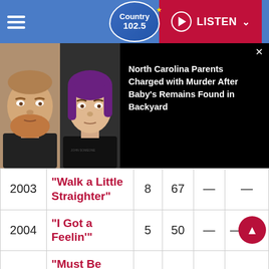Country 102.5 — LISTEN
[Figure (photo): News overlay showing two mugshot photos of a man with a beard and a woman with purple hair, with a dark panel headline: 'North Carolina Parents Charged with Murder After Baby's Remains Found in Backyard']
North Carolina Parents Charged with Murder After Baby's Remains Found in Backyard
| Year | Song | Col3 | Col4 | Col5 | Col6 |
| --- | --- | --- | --- | --- | --- |
| 2003 | “Walk a Little Straighter” | 8 | 67 | — | — |
| 2004 | “I Got a Feelin’” | 5 | 50 | — | — |
| 2005 | “Must Be Doin’ Somethin’ Right” | 1 | 39 | 63 | — |